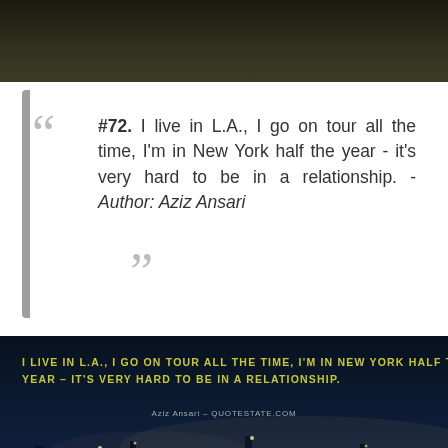[Figure (photo): Dark green/brown blurred background image at the top of the page]
#72. I live in L.A., I go on tour all the time, I'm in New York half the year - it's very hard to be in a relationship. - Author: Aziz Ansari
[Figure (photo): Night harbor scene with yachts and city lights in background (Monaco or similar), dark blue sky. Overlaid with yellow-green uppercase text: 'I LIVE IN L.A., I GO ON TOUR ALL THE TIME, I'M IN NEW YORK HALF THE YEAR – IT'S VERY HARD TO BE IN A RELATIONSHIP.' and attribution 'Aziz Ansari – QUOTESTATE.COM']